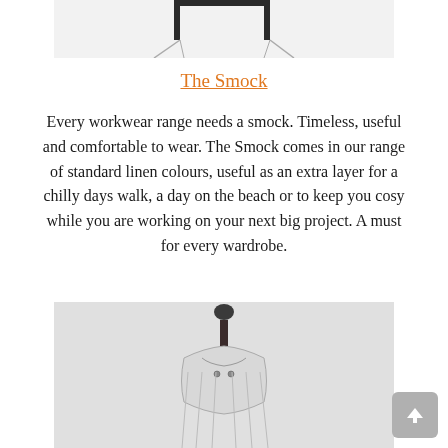[Figure (photo): Top portion of a clothing item on a mannequin, partial view, black and white]
The Smock
Every workwear range needs a smock. Timeless, useful and comfortable to wear. The Smock comes in our range of standard linen colours, useful as an extra layer for a chilly days walk, a day on the beach or to keep you cosy while you are working on your next big project. A must for every wardrobe.
[Figure (photo): Close-up of a smock collar and top on a mannequin stand, black and white photograph]